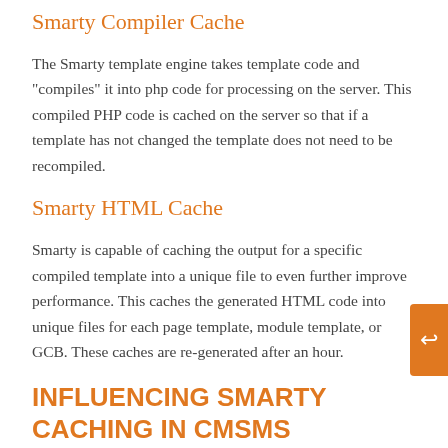Smarty Compiler Cache
The Smarty template engine takes template code and "compiles" it into php code for processing on the server. This compiled PHP code is cached on the server so that if a template has not changed the template does not need to be recompiled.
Smarty HTML Cache
Smarty is capable of caching the output for a specific compiled template into a unique file to even further improve performance. This caches the generated HTML code into unique files for each page template, module template, or GCB. These caches are re-generated after an hour.
INFLUENCING SMARTY CACHING IN CMSMS
Do a Compilation Check